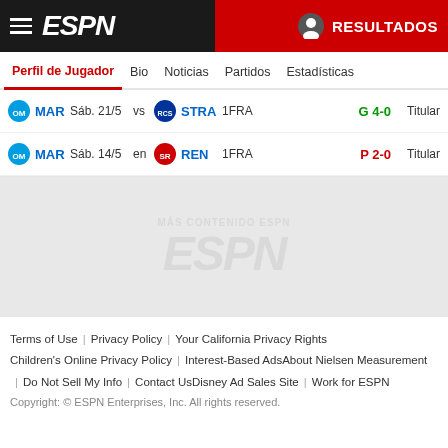ESPN - RESULTADOS
Perfil de Jugador | Bio | Noticias | Partidos | Estadísticas
| Team | Date |  | Opp Logo | Opp | League | Result | Status |
| --- | --- | --- | --- | --- | --- | --- | --- |
| MAR | Sáb. 21/5 | vs | STRA | 1FRA | G 4-0 | Titular |
| MAR | Sáb. 14/5 | en | REN | 1FRA | P 2-0 | Titular |
[Figure (other): ESPN watermark/advertisement placeholder area]
Terms of Use | Privacy Policy | Your California Privacy Rights | Children's Online Privacy Policy | Interest-Based Ads | About Nielsen Measurement | Do Not Sell My Info | Contact Us | Disney Ad Sales Site | Work for ESPN | Copyright: © ESPN Enterprises, Inc. All rights reserved.